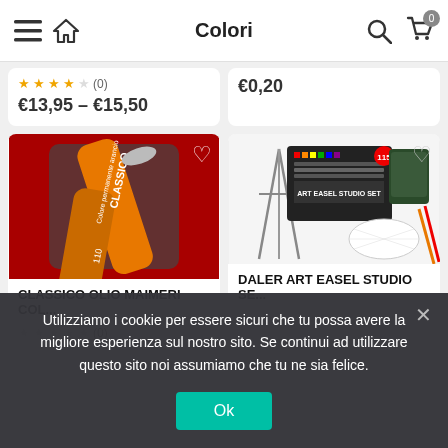Colori
★★★★★ (0) €13,95 – €15,50
€0,20
[Figure (photo): Photo of CLASSICO oil paint tubes by Maimeri, showing orange and dark paint tubes on a red background]
CLASSICO OLIO MAIMERI COL...
★★★★★ (0)
[Figure (photo): Photo of Daler Art Easel Studio Set with tripod easel and art supplies kit]
DALER ART EASEL STUDIO SE...
Utilizziamo i cookie per essere sicuri che tu possa avere la migliore esperienza sul nostro sito. Se continui ad utilizzare questo sito noi assumiamo che tu ne sia felice.